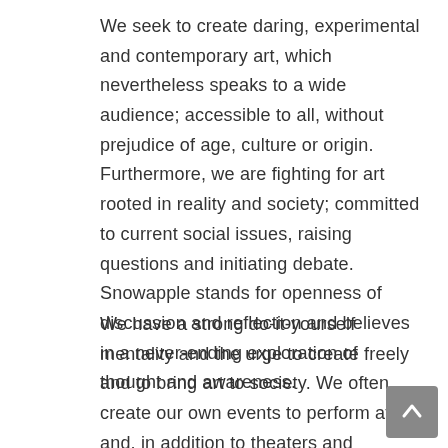We seek to create daring, experimental and contemporary art, which nevertheless speaks to a wide audience; accessible to all, without prejudice of age, culture or origin. Furthermore, we are fighting for art rooted in reality and society; committed to current social issues, raising questions and initiating debate. Snowapple stands for openness of discussion and reflection and believes in a never-ending exploration of thought and awareness.
We have a strong do-it-yourself mentality and the urge to create freely and to bring art to society. We often create our own events to perform at and, in addition to theaters and festivals, we often perform on the streets,